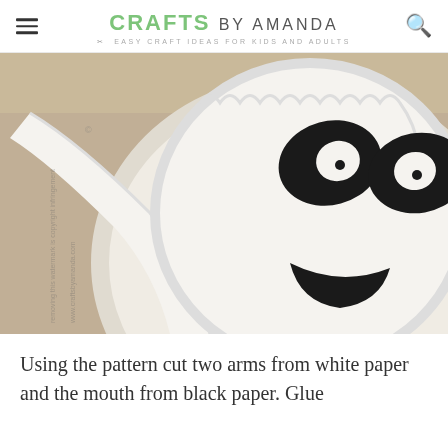CRAFTS BY AMANDA — EASY CRAFT IDEAS FOR KIDS AND ADULTS
[Figure (photo): Close-up photo of a paper plate panda craft showing white paper arms cut from a pattern and a paper plate with black paper features (eyes with white pupils, and a mouth) attached. A watermark reads 'removing this watermark is copyright infringement' and 'www.craftsbyamanda.com'. The background is a tan/craft paper surface.]
Using the pattern cut two arms from white paper and the mouth from black paper. Glue